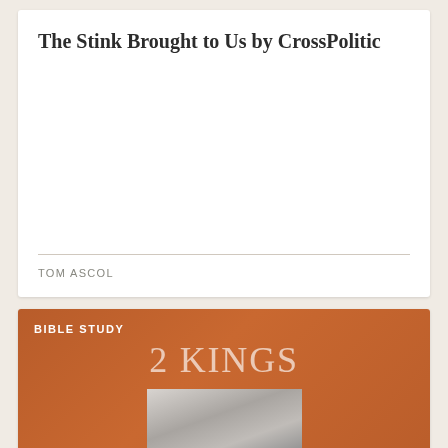The Stink Brought to Us by CrossPolitic
TOM ASCOL
[Figure (illustration): Orange/brown banner with 'BIBLE STUDY' label and '2 KINGS' heading, with a grayscale photo of hands holding an open Bible]
Strengthening the Remnant for the time of Purification